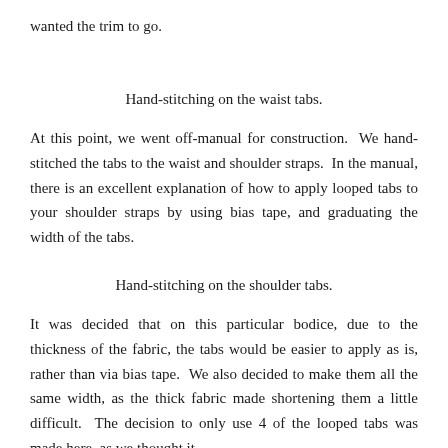wanted the trim to go.
Hand-stitching on the waist tabs.
At this point, we went off-manual for construction.  We hand-stitched the tabs to the waist and shoulder straps.  In the manual, there is an excellent explanation of how to apply looped tabs to your shoulder straps by using bias tape, and graduating the width of the tabs.
Hand-stitching on the shoulder tabs.
It was decided that on this particular bodice, due to the thickness of the fabric, the tabs would be easier to apply as is, rather than via bias tape.  We also decided to make them all the same width, as the thick fabric made shortening them a little difficult.  The decision to only use 4 of the looped tabs was made here, as we thought it